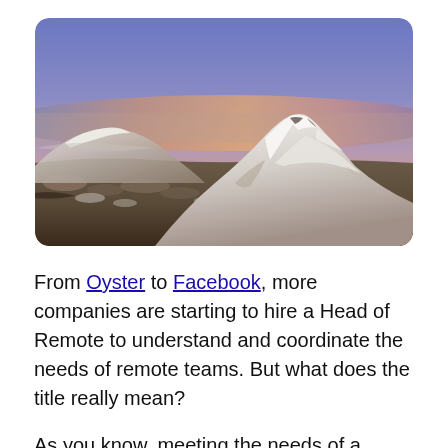[Figure (photo): Aerial panoramic photo of snow-covered mountain peaks at sunset/sunrise, with a warm orange glow on the horizon and a blue-purple sky above. The mountains are covered in snow with rocky ridgelines visible. A flat valley with scattered trees and snow patches stretches below.]
From Oyster to Facebook, more companies are starting to hire a Head of Remote to understand and coordinate the needs of remote teams. But what does the title really mean?
As you know, meeting the needs of a remote